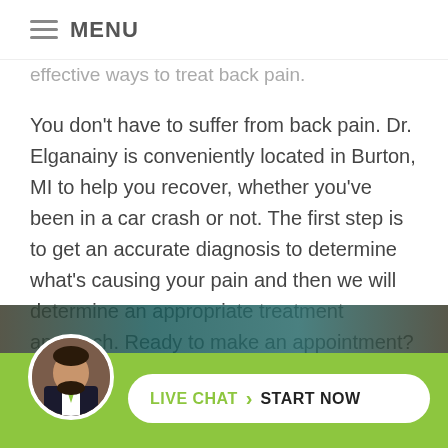≡ MENU
effective ways to treat back pain.
You don't have to suffer from back pain. Dr. Elganainy is conveniently located in Burton, MI to help you recover, whether you've been in a car crash or not. The first step is to get an accurate diagnosis to determine what's causing your pain and then we will determine an appropriate treatment approach. Ready to make an appointment? Give us a call at (810) 715-7746 and we'll get you back on the road to health.
[Figure (screenshot): Live chat widget with doctor photo and 'LIVE CHAT > START NOW' button on green background]